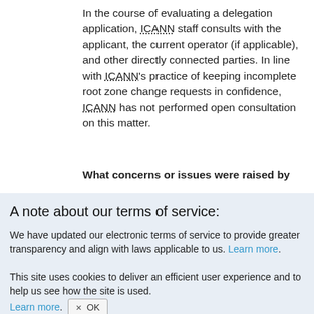In the course of evaluating a delegation application, ICANN staff consults with the applicant, the current operator (if applicable), and other directly connected parties. In line with ICANN's practice of keeping incomplete root zone change requests in confidence, ICANN has not performed open consultation on this matter.
What concerns or issues were raised by
A note about our terms of service:
We have updated our electronic terms of service to provide greater transparency and align with laws applicable to us. Learn more.
This site uses cookies to deliver an efficient user experience and to help us see how the site is used. Learn more. ✕ OK